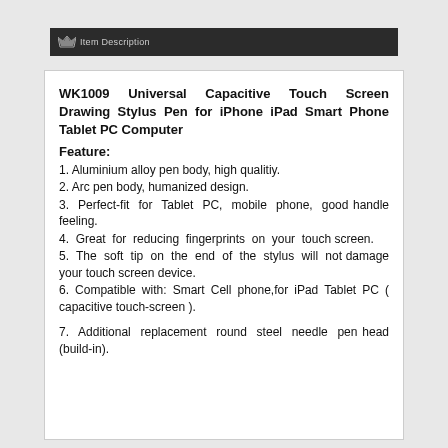Item Description
WK1009 Universal Capacitive Touch Screen Drawing Stylus Pen for iPhone iPad Smart Phone Tablet PC Computer
Feature:
1. Aluminium alloy pen body, high qualitiy.
2. Arc pen body, humanized design.
3. Perfect-fit for Tablet PC, mobile phone, good handle feeling.
4. Great for reducing fingerprints on your touch screen.
5. The soft tip on the end of the stylus will not damage your touch screen device.
6. Compatible with: Smart Cell phone,for iPad Tablet PC ( capacitive touch-screen ).
7. Additional replacement round steel needle pen head (build-in).